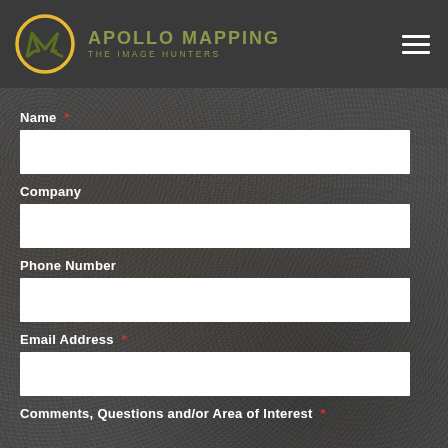[Figure (logo): Apollo Mapping logo: circular yellow/gold ring with stylized green 'AM' monogram inside, with brand name 'APOLLO MAPPING' and tagline 'THE IMAGE HUNTERS' in olive/green text to the right. Hamburger menu icon (three white horizontal lines) on the right side of the header.]
Name *
Company
Phone Number
Email Address *
Comments, Questions and/or Area of Interest *